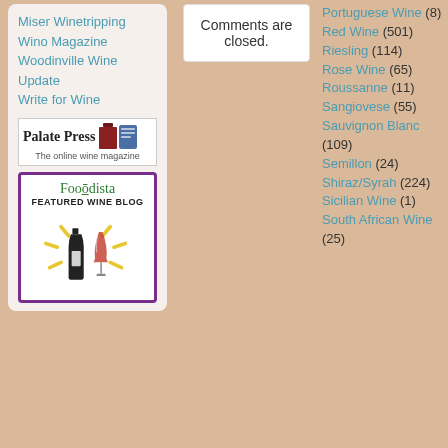Miser Winetripping
Wino Magazine
Woodinville Wine Update
Write for Wine
[Figure (logo): Palate Press - The online wine magazine logo with wine bottle and tablet imagery]
[Figure (logo): Foodista Featured Wine Blog badge with wine bottle and wine glass illustration]
Comments are closed.
Portuguese Wine (8)
Red Wine (501)
Riesling (114)
Rose Wine (65)
Roussanne (11)
Sangiovese (55)
Sauvignon Blanc (109)
Semillon (24)
Shiraz/Syrah (224)
Sicilian Wine (1)
South African Wine (25)